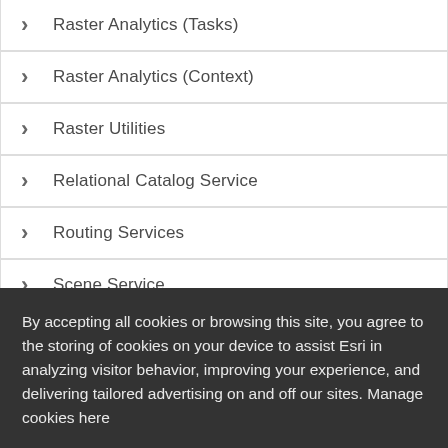> Raster Analytics (Tasks)
> Raster Analytics (Context)
> Raster Utilities
> Relational Catalog Service
> Routing Services
> Scene Service
v Schematic Service
Schematic Service
By accepting all cookies or browsing this site, you agree to the storing of cookies on your device to assist Esri in analyzing visitor behavior, improving your experience, and delivering tailored advertising on and off our sites. Manage cookies here